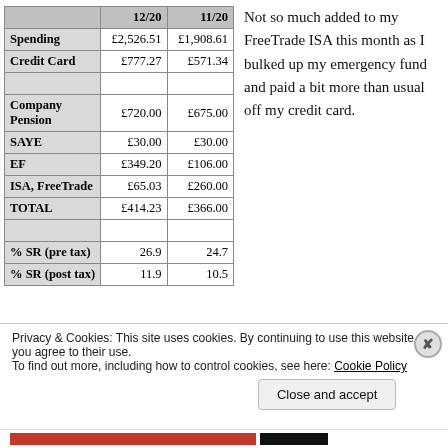|  | 12/20 | 11/20 |
| --- | --- | --- |
| Spending | £2,526.51 | £1,908.61 |
| Credit Card | £777.27 | £571.34 |
|  |  |  |
| Company Pension | £720.00 | £675.00 |
| SAYE | £30.00 | £30.00 |
| EF | £349.20 | £106.00 |
| ISA, FreeTrade | £65.03 | £260.00 |
| TOTAL | £414.23 | £366.00 |
|  |  |  |
| % SR (pre tax) | 26.9 | 24.7 |
| % SR (post tax) | 11.9 | 10.5 |
Not so much added to my FreeTrade ISA this month as I bulked up my emergency fund and paid a bit more than usual off my credit card.
Privacy & Cookies: This site uses cookies. By continuing to use this website, you agree to their use.
To find out more, including how to control cookies, see here: Cookie Policy